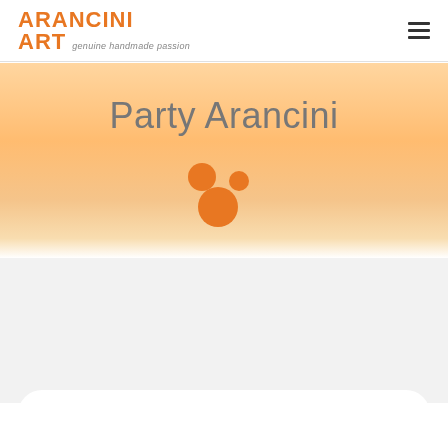[Figure (logo): Arancini Art logo: orange bold text 'ARANCINI' on top, 'ART' in orange bold with italic tagline 'genuine handmade passion' in gray]
[Figure (other): Hamburger menu icon (three horizontal lines) in top right corner]
Party Arancini
[Figure (illustration): Three orange circles of varying sizes arranged like arancini balls - two smaller circles on top and one larger circle below, forming a triangular cluster]